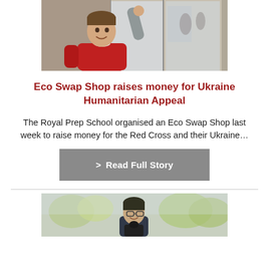[Figure (photo): A young boy in a red sweater smiling and raising his hand near a glass door, indoors]
Eco Swap Shop raises money for Ukraine Humanitarian Appeal
The Royal Prep School organised an Eco Swap Shop last week to raise money for the Red Cross and their Ukraine…
> Read Full Story
[Figure (photo): A student in school uniform smiling outdoors, with trees in the background]